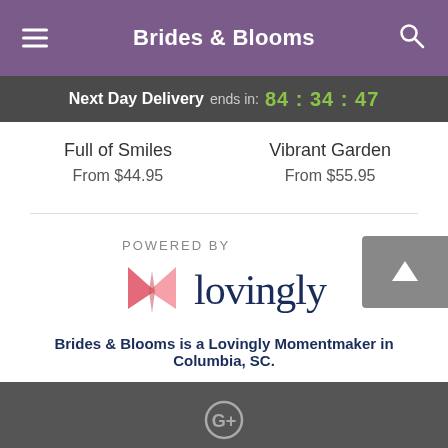Brides & Blooms
Next Day Delivery ends in: 84:34:47
Full of Smiles
From $44.95
Vibrant Garden
From $55.95
[Figure (logo): POWERED BY Lovingly logo with pink heart/book shape icon]
Brides & Blooms is a Lovingly Momentmaker in Columbia, SC.
Buying local matters. Discover how Lovingly is committed to strengthening relationships by helping local florists market, sell, and deliver their floral designs online.
Google+ icon footer